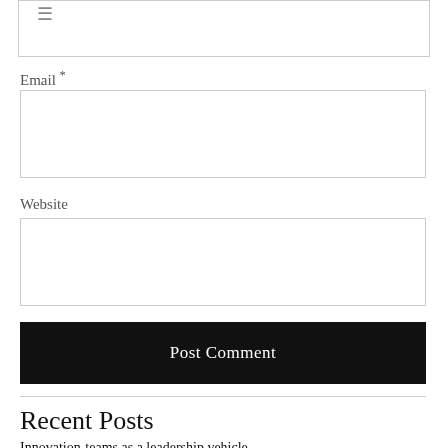[Figure (other): Menu/hamburger icon (three horizontal lines) inside a bordered box at the top]
Email *
[Figure (other): Empty email input text field (bordered rectangle)]
Website
[Figure (other): Empty website input text field (bordered rectangle)]
Post Comment
Recent Posts
Innovation-teams as a leadership vehicle